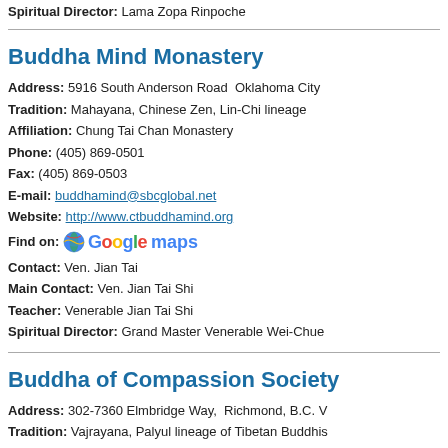Spiritual Director: Lama Zopa Rinpoche
Buddha Mind Monastery
Address: 5916 South Anderson Road  Oklahoma City
Tradition: Mahayana, Chinese Zen, Lin-Chi lineage
Affiliation: Chung Tai Chan Monastery
Phone: (405) 869-0501
Fax: (405) 869-0503
E-mail: buddhamind@sbcglobal.net
Website: http://www.ctbuddhamind.org
Find on: Google maps
Contact: Ven. Jian Tai
Main Contact: Ven. Jian Tai Shi
Teacher: Venerable Jian Tai Shi
Spiritual Director: Grand Master Venerable Wei-Chue
Buddha of Compassion Society
Address: 302-7360 Elmbridge Way,  Richmond, B.C. V
Tradition: Vajrayana, Palyul lineage of Tibetan Buddhis
Phone: 1+604-247-0355 / 1+604-761-2289
E-mail: buddha_compassion@yahoo.ca
Website: http://www.buddhaofcompassion.org
Find on: Google maps
Main Contact: Sandy  Email  (Phone: 604-761-2289)